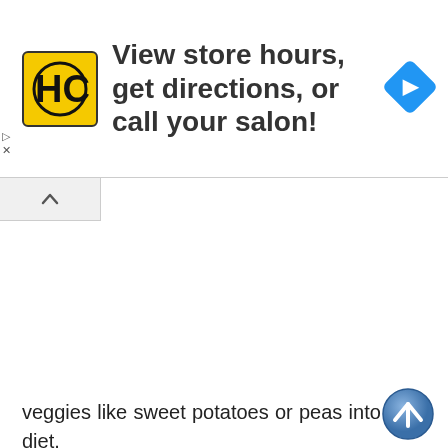[Figure (screenshot): Advertisement banner for HC (Hair Club) salon with logo, text 'View store hours, get directions, or call your salon!' and a blue navigation diamond icon]
veggies like sweet potatoes or peas into their diet.
For a flea allergy, you might need to purchase a new shampoo or spray or capsule. But make sure your dog is not allergic to the chemicals in those products. Not all flea products are good for your dog. A contact allergy is also a common phenomenon. And may lead to skin infections, dryness, or itchiness.